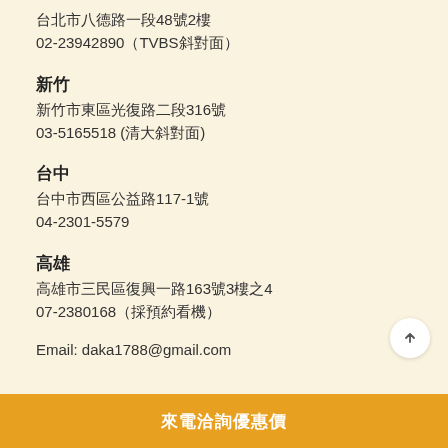台北市八德路一段48號2樓
02-23942890（TVBS斜對面）
新竹
新竹市東區光復路二段316號
03-5165518 (清大斜對面)
台中
台中市西區公益路117-1號
04-2301-5579
高雄
高雄市三民區復興一路163號3樓之4
07-2380168（採預約看機）
Email: daka1788@gmail.com
來電洽詢優惠價